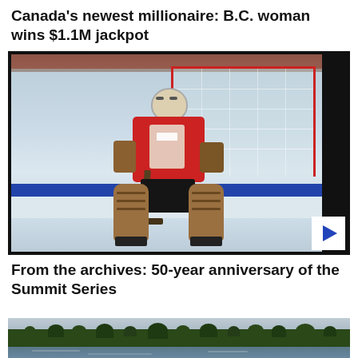Canada's newest millionaire: B.C. woman wins $1.1M jackpot
[Figure (screenshot): Video thumbnail showing a hockey goalie in a red Canada jersey standing in front of a net on the ice, with a play button overlay in the bottom right corner.]
From the archives: 50-year anniversary of the Summit Series
[Figure (photo): Partial view of a landscape photo showing trees and a lake or river shoreline.]